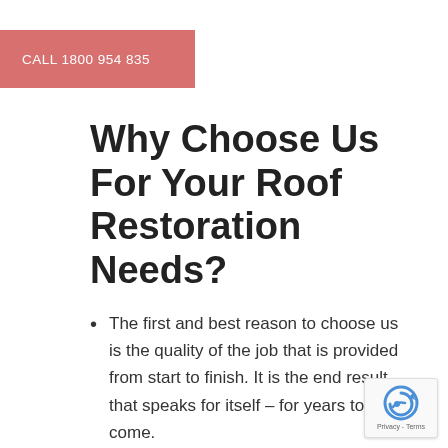CALL 1800 954 835
Why Choose Us For Your Roof Restoration Needs?
The first and best reason to choose us is the quality of the job that is provided from start to finish. It is the end result that speaks for itself – for years to come.
[Figure (logo): reCAPTCHA privacy badge with blue circular arrow icon and Privacy - Terms text]